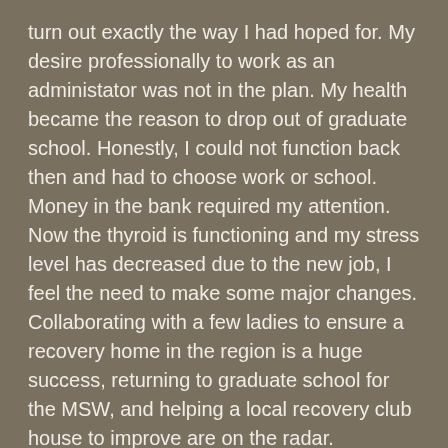turn out exactly the way I had hoped for.  My desire professionally to work as an administator was not in the plan.  My health became the reason to drop out of graduate school.  Honestly, I could not function back then and had to choose work or school.  Money in the bank required my attention. Now the thyroid is functioning and my stress level has decreased due to the new job, I feel the need to make some major changes.  Collaborating with a few ladies to ensure a recovery home in the region is a huge success, returning to graduate school for the MSW, and helping a local recovery club house to improve are on the radar.
Is this boredom?  Not for long!
Share this: